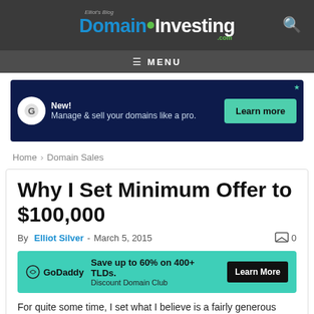Elliot's Blog DomainInvesting.com
[Figure (logo): DomainInvesting.com blog logo with blue and white text and green dot]
[Figure (infographic): Top advertisement banner: dark navy background with GoDaddy-style icon, text 'New! Manage & sell your domains like a pro.' and a teal 'Learn more' button]
Home › Domain Sales
Why I Set Minimum Offer to $100,000
By Elliot Silver - March 5, 2015   0
[Figure (infographic): GoDaddy advertisement: teal background, GoDaddy logo, 'Save up to 60% on 400+ TLDs. Discount Domain Club', black 'Learn More' button]
For quite some time, I set what I believe is a fairly generous